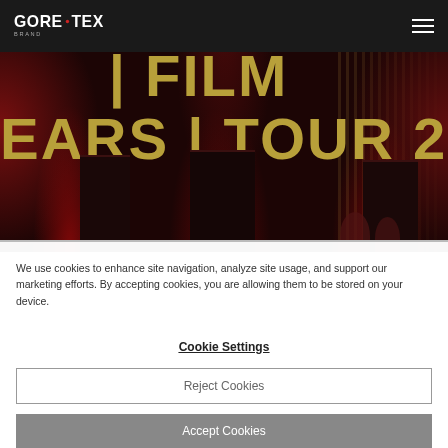GORE-TEX Brand
[Figure (photo): Event venue interior showing 'YEARS | FILM TOUR 2021' projected text in gold/yellow letters on a dark red-lit wall with doors visible at the bottom]
We use cookies to enhance site navigation, analyze site usage, and support our marketing efforts. By accepting cookies, you are allowing them to be stored on your device.
Cookie Settings
Reject Cookies
Accept Cookies